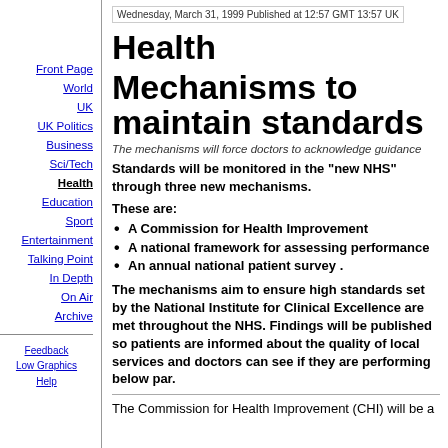Wednesday, March 31, 1999 Published at 12:57 GMT 13:57 UK
Health
Mechanisms to maintain standards
The mechanisms will force doctors to acknowledge guidance
Standards will be monitored in the "new NHS" through three new mechanisms.
These are:
A Commission for Health Improvement
A national framework for assessing performance
An annual national patient survey .
The mechanisms aim to ensure high standards set by the National Institute for Clinical Excellence are met throughout the NHS. Findings will be published so patients are informed about the quality of local services and doctors can see if they are performing below par.
The Commission for Health Improvement (CHI) will be a